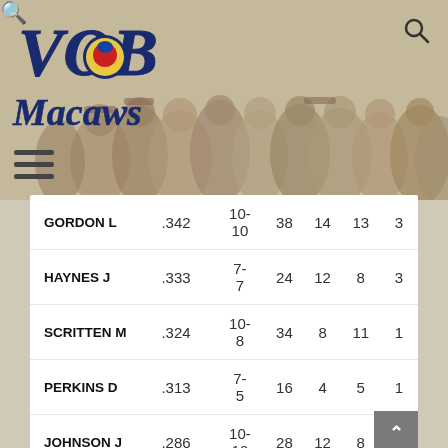[Figure (logo): VOB Macaws baseball team logo with blue script lettering and bird mascot, overlaid on a sepia-toned group photo of baseball players]
| Name | AVG | W-L | AB | H | RBI | HR |
| --- | --- | --- | --- | --- | --- | --- |
| GORDON L | .342 | 10-10 | 38 | 14 | 13 | 3 |
| HAYNES J | .333 | 7-7 | 24 | 12 | 8 | 3 |
| SCRITTEN M | .324 | 10-8 | 34 | 8 | 11 | 1 |
| PERKINS D | .313 | 7-5 | 16 | 4 | 5 | 1 |
| JOHNSON J | .286 | 10-10 | 28 | 12 | 8 | 1 |
| NOVEMBER L | .281 | 10-10 | 32 | 15 | 9 | 3 |